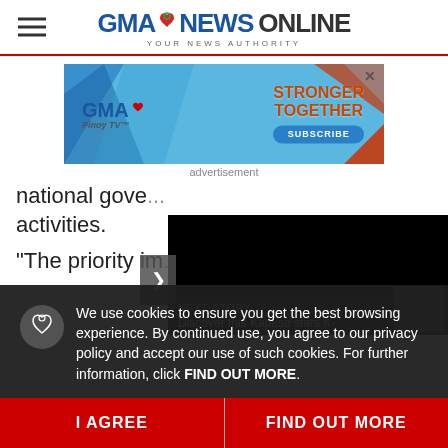GMA NEWS ONLINE - YOUR NEWS AUTHORITY
[Figure (screenshot): GMA Pinoy TV advertisement banner with 'STRONGER TOGETHER' text and SUBSCRIBE button on blue geometric background]
advertisement
national gove... activities.
"The priority im... Build b...
[Figure (screenshot): Black video player overlay with next story: Discover this Kapuso stars K-...]
We use cookies to ensure you get the best browsing experience. By continued use, you agree to our privacy policy and accept our use of such cookies. For further information, click FIND OUT MORE.
I AGREE
FIND OUT MORE